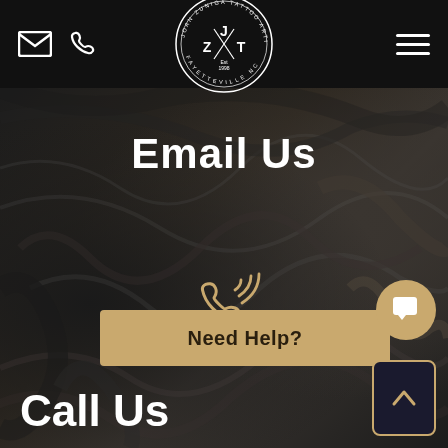Joan Zuniga Tattoo Artist in Fayetteville NC, Est 1998 — JZT logo header with email icon, phone icon, and hamburger menu
Email Us
[Figure (illustration): Gold phone/call icon with signal waves radiating from it]
Call Us
Need Help?
[Figure (illustration): Gold chat bubble icon button (circular)]
[Figure (illustration): Dark scroll-to-top button with upward chevron, gold border]